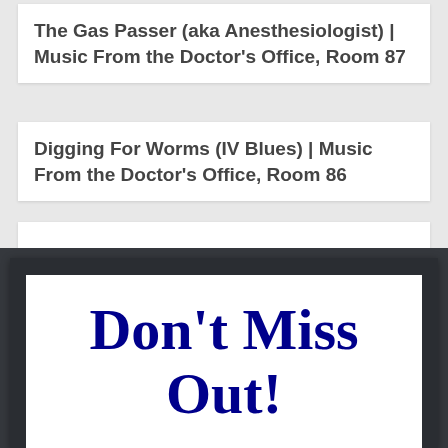The Gas Passer (aka Anesthesiologist) | Music From the Doctor's Office, Room 87
Digging For Worms (IV Blues) | Music From the Doctor's Office, Room 86
[Figure (other): Empty white card placeholder]
[Figure (other): Dark framed white panel with bold dark blue text reading Don't Miss Out!]